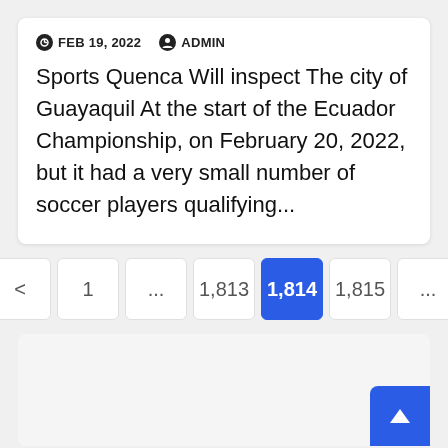FEB 19, 2022   ADMIN
Sports Quenca Will inspect The city of Guayaquil At the start of the Ecuador Championship, on February 20, 2022, but it had a very small number of soccer players qualifying...
< 1 ... 1,813 1,814 1,815 ...